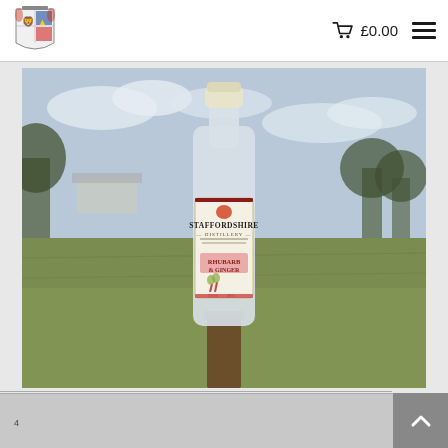Staffordshire Distillery website header with logo, cart £0.00, and hamburger menu
[Figure (photo): A bottle of Staffordshire Distillery Rhubarb & Ginger gin standing on a wooden post in an open rural field with green grass and trees under a cloudy sky]
Scroll up button and navigation bar